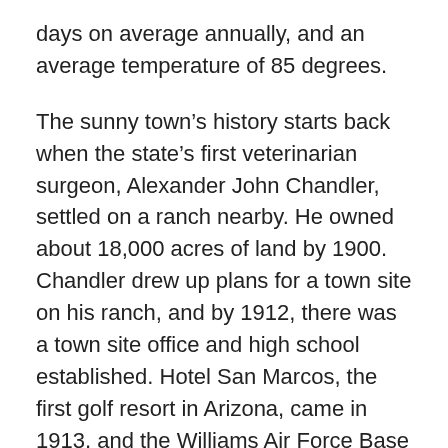days on average annually, and an average temperature of 85 degrees.
The sunny town's history starts back when the state's first veterinarian surgeon, Alexander John Chandler, settled on a ranch nearby. He owned about 18,000 acres of land by 1900. Chandler drew up plans for a town site on his ranch, and by 1912, there was a town site office and high school established. Hotel San Marcos, the first golf resort in Arizona, came in 1913, and the Williams Air Force Base in 1941. This all brought a small boost in the population. Then, from 1950 to 1980, the population grew from 3,800 to over 30,000. The city has continually flourished ever since.